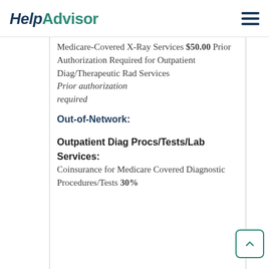HelpAdvisor
Medicare-Covered X-Ray Services $50.00 Prior Authorization Required for Outpatient Diag/Therapeutic Rad Services Prior authorization required
Out-of-Network:
Outpatient Diag Procs/Tests/Lab Services: Coinsurance for Medicare Covered Diagnostic Procedures/Tests 30%